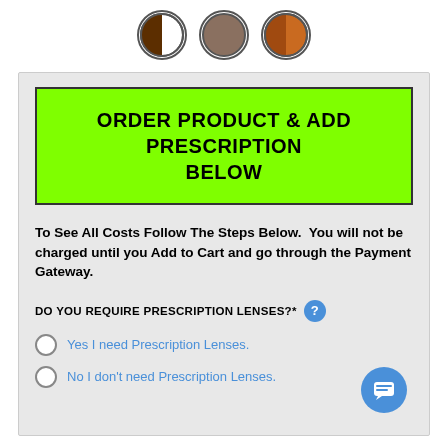[Figure (illustration): Three circular color swatches: first is half dark brown / half white, second is solid grey-brown, third is orange-brown with border.]
ORDER PRODUCT & ADD PRESCRIPTION BELOW
To See All Costs Follow The Steps Below. You will not be charged until you Add to Cart and go through the Payment Gateway.
DO YOU REQUIRE PRESCRIPTION LENSES?*
Yes I need Prescription Lenses.
No I don't need Prescription Lenses.